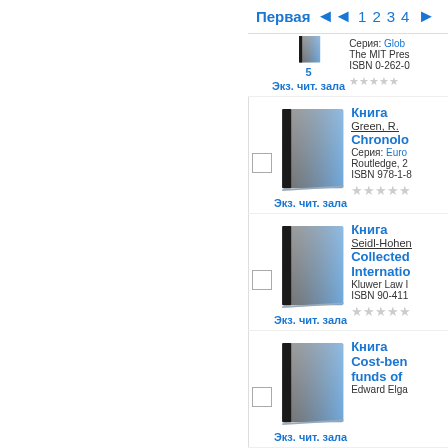Первая  ◄◄  1  2  3  4  ►
5
Экз. чит. зала
Серия: Glob...
The MIT Pres...
ISBN 0-262-0...
[Figure (illustration): Blue book cover icon]
Книга
Green, R.
Chronolo...
Серия: Euro...
Routledge, 2...
ISBN 978-1-8...
Экз. чит. зала
[Figure (illustration): Blue book cover icon]
Книга
Seidl-Hohen...
Collected...
Internatio...
Kluwer Law I...
ISBN 90-411...
Экз. чит. зала
[Figure (illustration): Blue book cover icon]
Книга
Cost-ben...
funds of ...
Edward Elga...
Экз. чит. зала